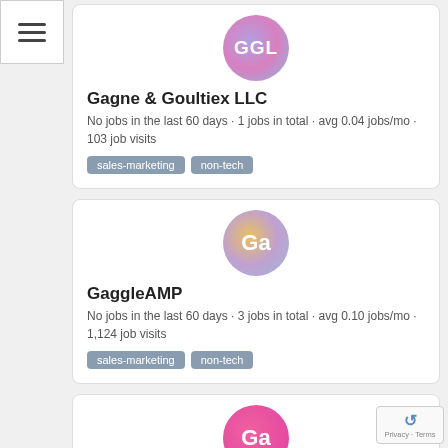[Figure (logo): Hamburger menu icon (three horizontal lines)]
[Figure (logo): GGL circular gradient logo (purple/pink/blue)]
Gagne & Goultiex LLC
No jobs in the last 60 days · 1 jobs in total · avg 0.04 jobs/mo · 103 job visits
sales-marketing
non-tech
[Figure (logo): Ga circular gradient logo (yellow/purple/blue)]
GaggleAMP
No jobs in the last 60 days · 3 jobs in total · avg 0.10 jobs/mo · 1,124 job visits
sales-marketing
non-tech
[Figure (logo): Ga circular pink gradient logo]
Gaia
No jobs in the last 60 days · 2 jobs in total · avg 0.07 jobs/mo · 190 job visits
sales-marketing
non-tech